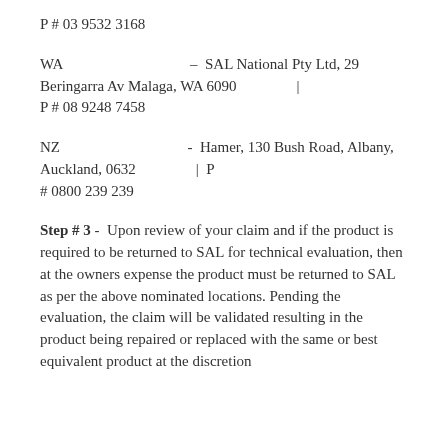P # 03 9532 3168
WA  –  SAL National Pty Ltd, 29 Beringarra Av Malaga, WA 6090  |  P # 08 9248 7458
NZ  -  Hamer, 130 Bush Road, Albany, Auckland, 0632  |  P # 0800 239 239
Step # 3 -  Upon review of your claim and if the product is required to be returned to SAL for technical evaluation, then at the owners expense the product must be returned to SAL as per the above nominated locations. Pending the evaluation, the claim will be validated resulting in the product being repaired or replaced with the same or best equivalent product at the discretion